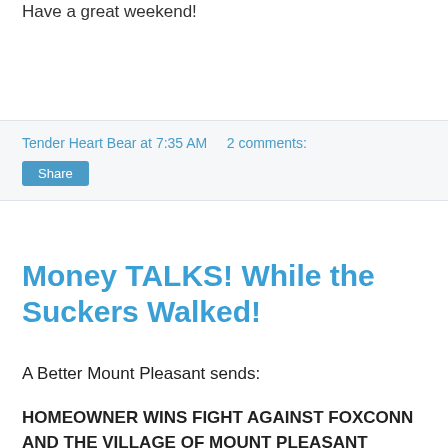Have a great weekend!
Tender Heart Bear at 7:35 AM    2 comments:
Share
Money TALKS! While the Suckers Walked!
A Better Mount Pleasant sends:
HOMEOWNER WINS FIGHT AGAINST FOXCONN AND THE VILLAGE OF MOUNT PLEASANT
Today the Village of Mount Pleasant Plan Commission approved a new road plan for Prairie View Drive which will replace the current north end of Prairie View Drive, a road that runs west from Highway H into the Foxconn Development Area I. The first portion of the road will be a public street. There will be an intersection at the northwest